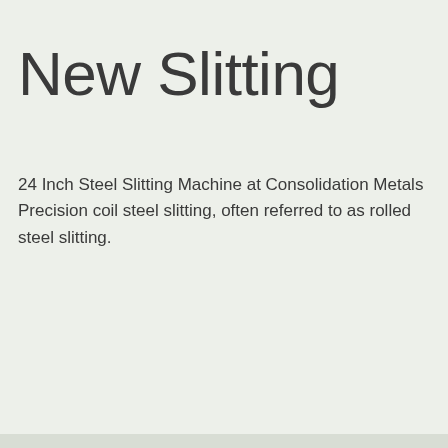New Slitting
24 Inch Steel Slitting Machine at Consolidation Metals Precision coil steel slitting, often referred to as rolled steel slitting.